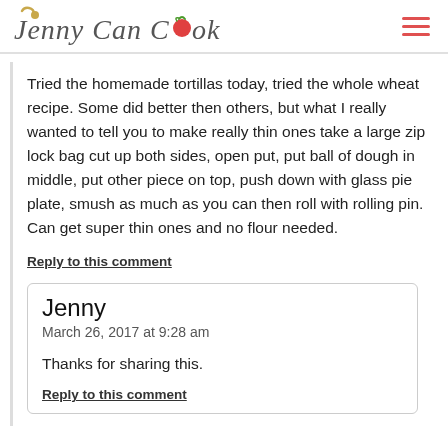Jenny Can Cook
Tried the homemade tortillas today, tried the whole wheat recipe. Some did better then others, but what I really wanted to tell you to make really thin ones take a large zip lock bag cut up both sides, open put, put ball of dough in middle, put other piece on top, push down with glass pie plate, smush as much as you can then roll with rolling pin. Can get super thin ones and no flour needed.
Reply to this comment
Jenny
March 26, 2017 at 9:28 am
Thanks for sharing this.
Reply to this comment